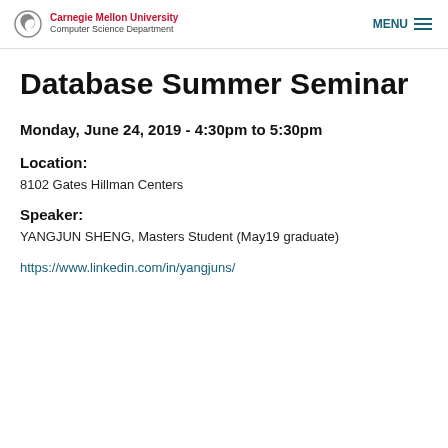Carnegie Mellon University Computer Science Department | MENU
Database Summer Seminar
Monday, June 24, 2019 - 4:30pm to 5:30pm
Location:
8102 Gates Hillman Centers
Speaker:
YANGJUN SHENG, Masters Student (May19 graduate)
https://www.linkedin.com/in/yangjuns/